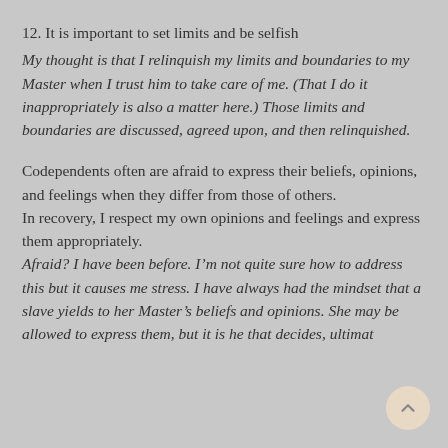12. It is important to set limits and be selfish
My thought is that I relinquish my limits and boundaries to my Master when I trust him to take care of me. (That I do it inappropriately is also a matter here.) Those limits and boundaries are discussed, agreed upon, and then relinquished.
Codependents often are afraid to express their beliefs, opinions, and feelings when they differ from those of others.
In recovery, I respect my own opinions and feelings and express them appropriately.
Afraid? I have been before. I’m not quite sure how to address this but it causes me stress. I have always had the mindset that a slave yields to her Master’s beliefs and opinions. She may be allowed to express them, but it is he that decides, ultimat…